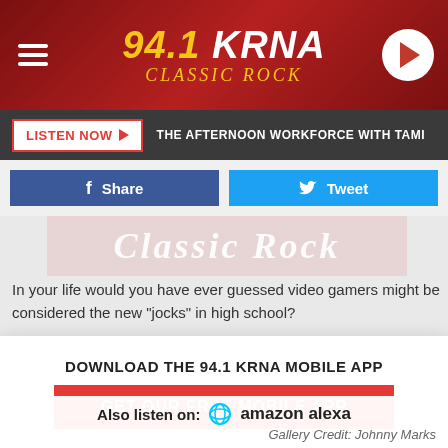94.1 KRNA CLASSIC ROCK
LISTEN NOW  THE AFTERNOON WORKFORCE WITH TAMI
Share   Tweet
[Figure (screenshot): Classic Rock banner image with dark red background]
In your life would you have ever guessed video gamers might be considered the new "jocks" in high school?
DOWNLOAD THE 94.1 KRNA MOBILE APP
GET OUR FREE MOBILE APP
COMPANIES BASED IN IOWA
These companies all have one thing in common: They're based in
Also listen on:  amazon alexa
Gallery Credit: Johnny Marks